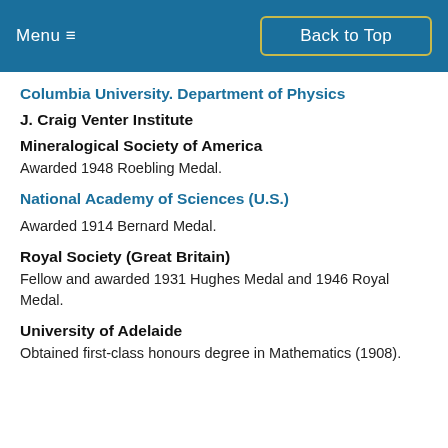Menu ≡   Back to Top
Columbia University. Department of Physics
J. Craig Venter Institute
Mineralogical Society of America
Awarded 1948 Roebling Medal.
National Academy of Sciences (U.S.)
Awarded 1914 Bernard Medal.
Royal Society (Great Britain)
Fellow and awarded 1931 Hughes Medal and 1946 Royal Medal.
University of Adelaide
Obtained first-class honours degree in Mathematics (1908).